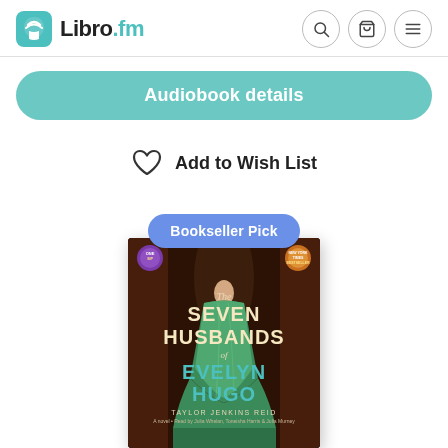[Figure (logo): Libro.fm logo with teal headphone/book icon and brand name]
Audiobook details
Add to Wish List
Bookseller Pick
[Figure (illustration): Book cover for The Seven Husbands of Evelyn Hugo by Taylor Jenkins Reid, showing a woman in a green gown against a dark background, with award medallions in the corners]